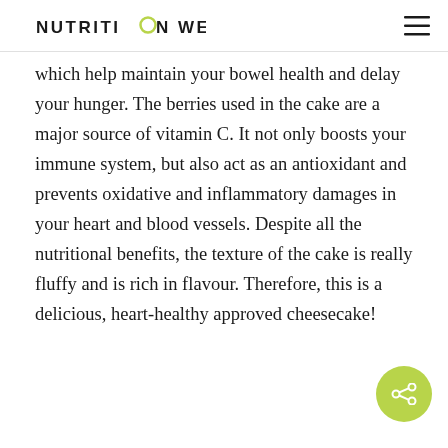NUTRITION WELL
which help maintain your bowel health and delay your hunger. The berries used in the cake are a major source of vitamin C. It not only boosts your immune system, but also act as an antioxidant and prevents oxidative and inflammatory damages in your heart and blood vessels. Despite all the nutritional benefits, the texture of the cake is really fluffy and is rich in flavour. Therefore, this is a delicious, heart-healthy approved cheesecake!